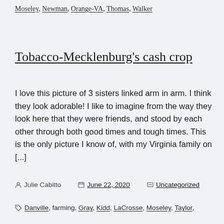Moseley, Newman, Orange-VA, Thomas, Walker
Tobacco-Mecklenburg's cash crop
I love this picture of 3 sisters linked arm in arm. I think they look adorable! I like to imagine from the way they look here that they were friends, and stood by each other through both good times and tough times. This is the only picture I know of, with my Virginia family on [...]
Julie Cabitto   June 22, 2020   Uncategorized
Danville, farming, Gray, Kidd, LaCrosse, Moseley, Taylor,